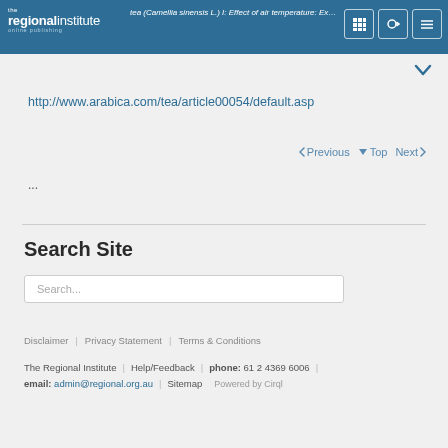the regionalinstitute online publishing | tea (Camellia sinensis L.) I: Effect of air temperature: Expe...
http://www.arabica.com/tea/article00054/default.asp
< Previous  ▲ Top  Next >
...
Search Site
Search...
Disclaimer | Privacy Statement | Terms & Conditions
The Regional Institute | Help/Feedback | phone: 61 2 4369 6006 | email: admin@regional.org.au | Sitemap | Powered by Cirql